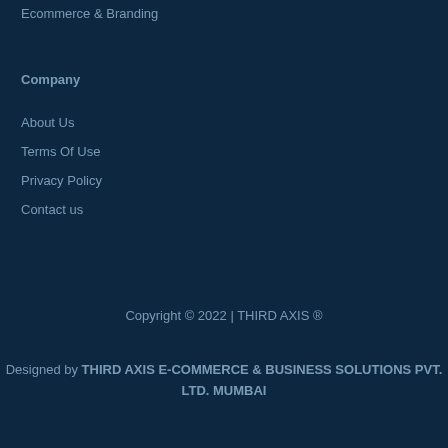Ecommerce & Branding
Company
About Us
Terms Of Use
Privacy Policy
Contact us
Copyright © 2022 | THIRD AXIS ®
Designed by THIRD AXIS E-COMMERCE & BUSINESS SOLUTIONS PVT. LTD. MUMBAI